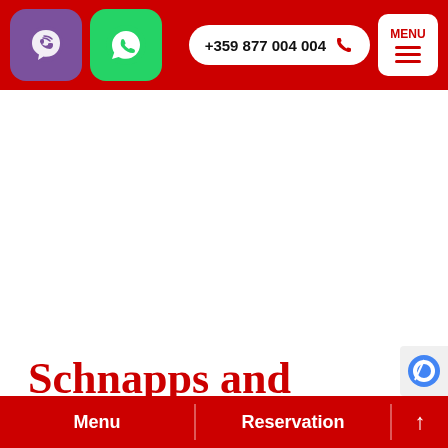Navigation bar with Viber icon, WhatsApp icon, phone number +359 877 004 004, and MENU button
[Figure (screenshot): White content area (blank image space)]
Schnapps and Kirsch
Of course, when we talk about Switzerland, w
Menu | Reservation | ↑